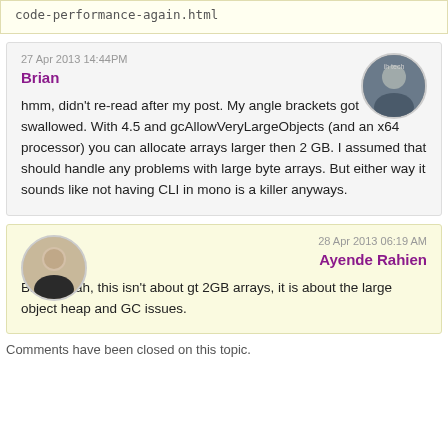code-performance-again.html
27 Apr 2013 14:44PM
Brian
hmm, didn't re-read after my post. My angle brackets got swallowed. With 4.5 and gcAllowVeryLargeObjects (and an x64 processor) you can allocate arrays larger then 2 GB. I assumed that should handle any problems with large byte arrays. But either way it sounds like not having CLI in mono is a killer anyways.
28 Apr 2013 06:19 AM
Ayende Rahien
Brian, Yeah, this isn't about gt 2GB arrays, it is about the large object heap and GC issues.
Comments have been closed on this topic.